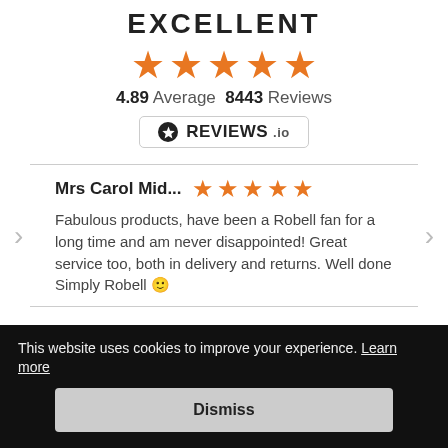EXCELLENT
[Figure (other): Five orange star rating icons]
4.89 Average  8443 Reviews
[Figure (logo): REVIEWS.io badge with star icon]
Mrs Carol Mid...
[Figure (other): Five orange star rating icons for review]
Fabulous products, have been a Robell fan for a long time and am never disappointed! Great service too, both in delivery and returns. Well done Simply Robell 🙂
SHOPPING WITH US
This website uses cookies to improve your experience. Learn more
Dismiss